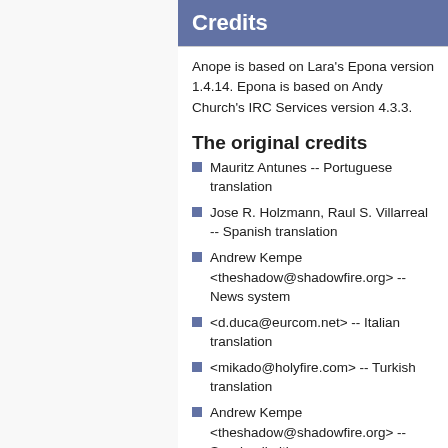Credits
Anope is based on Lara's Epona version 1.4.14. Epona is based on Andy Church's IRC Services version 4.3.3.
The original credits
Mauritz Antunes -- Portuguese translation
Jose R. Holzmann, Raul S. Villarreal -- Spanish translation
Andrew Kempe <theshadow@shadowfire.org> -- News system
<d.duca@eurcom.net> -- Italian translation
<mikado@holyfire.com> -- Turkish translation
Andrew Kempe <theshadow@shadowfire.org> -- Session limiting